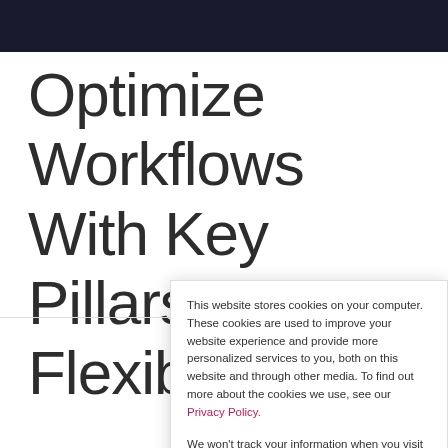Optimize Workflows With Key Pillars of Flexibility
This website stores cookies on your computer. These cookies are used to improve your website experience and provide more personalized services to you, both on this website and through other media. To find out more about the cookies we use, see our Privacy Policy.
We won't track your information when you visit our site. But in order to comply with your preferences, we'll have to use just one tiny cookie so that you're not asked to make this choice again.
Accept   Decline